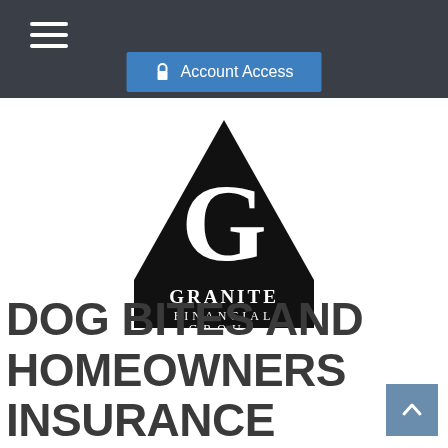Account Access
[Figure (logo): Granite Financial Group logo: black triangle with large G letter and company name GRANITE FINANCIAL GROUP in serif text below]
DOG BITES AND HOMEOWNERS INSURANCE